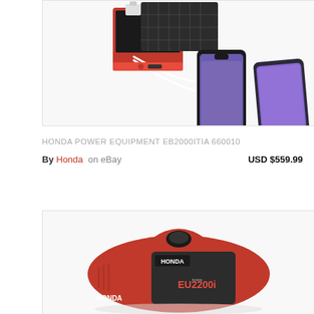[Figure (photo): A red portable power station with white USB cables connected to two smartphones (iPhone X and a Samsung Galaxy-style phone) being charged simultaneously.]
HONDA POWER EQUIPMENT EB2000ITIA 660010
By Honda on eBay   USD $559.99
[Figure (photo): A red Honda EU2200i portable inverter generator with black accents, showing the Honda branding and EU2200i model name on the front panel.]